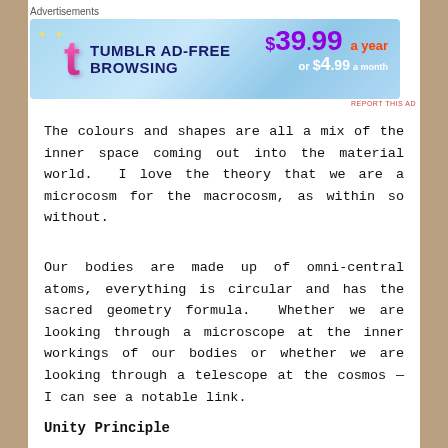Advertisements
[Figure (other): Tumblr Ad-Free Browsing advertisement banner showing $39.99 a year or $4.99 a month pricing]
The colours and shapes are all a mix of the inner space coming out into the material world.  I love the theory that we are a microcosm for the macrocosm, as within so without.
Our bodies are made up of omni-central atoms, everything is circular and has the sacred geometry formula.  Whether we are looking through a microscope at the inner workings of our bodies or whether we are looking through a telescope at the cosmos — I can see a notable link.
Unity Principle
The Universal Unity Theory — for me — is the certainty that every one and every thing is connected on some